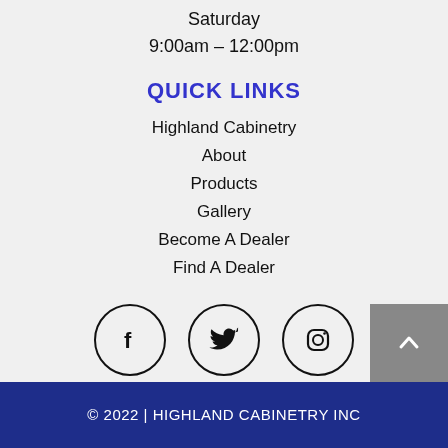Saturday
9:00am – 12:00pm
QUICK LINKS
Highland Cabinetry
About
Products
Gallery
Become A Dealer
Find A Dealer
[Figure (illustration): Three social media icons in circles: Facebook, Twitter, Instagram]
© 2022 | HIGHLAND CABINETRY INC